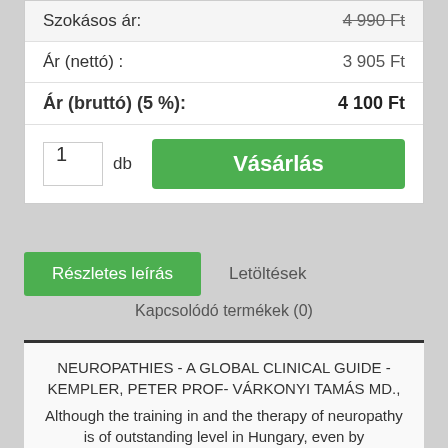| Szokásos ár: | 4 990 Ft |
| Ár (nettó) : | 3 905 Ft |
| Ár (bruttó) (5 %): | 4 100 Ft |
1  db   Vásárlás
Részletes leírás   Letöltések
Kapcsolódó termékek (0)
NEUROPATHIES - A GLOBAL CLINICAL GUIDE - KEMPLER, PETER PROF- VÁRKONYI TAMÁS MD., Although the training in and the therapy of neuropathy is of outstanding level in Hungary, even by international